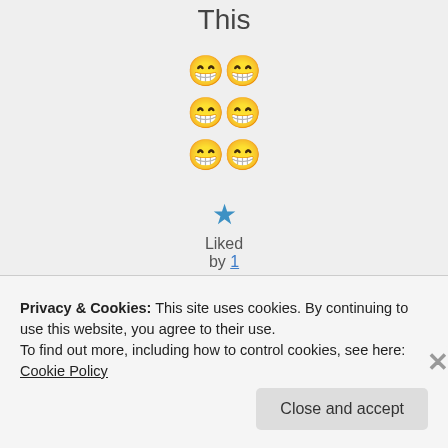This
[Figure (illustration): Six laughing/grinning emoji faces arranged in three rows of two]
[Figure (illustration): Blue star icon for like/favorite]
Liked by 1 person
Log in to Reply
Privacy & Cookies: This site uses cookies. By continuing to use this website, you agree to their use.
To find out more, including how to control cookies, see here: Cookie Policy
Close and accept